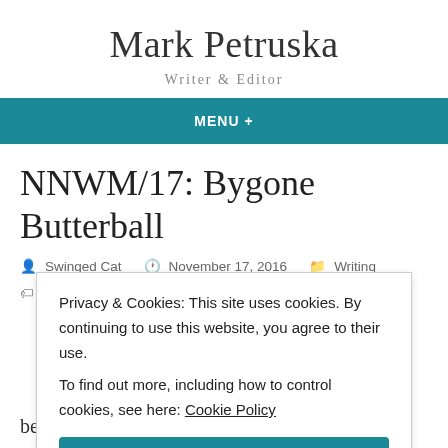Mark Petruska
Writer & Editor
NNWM/17: Bygone Butterball
Swinged Cat   November 17, 2016   Writing
1997, Butterball, computer, detective, hotline, NaNoWriMo, novel,
Privacy & Cookies: This site uses cookies. By continuing to use this website, you agree to their use.
To find out more, including how to control cookies, see here: Cookie Policy
Close and accept
been answering turkey-related questions from